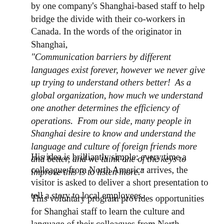by one company's Shanghai-based staff to help bridge the divide with their co-workers in Canada. In the words of the originator in Shanghai, “Communication barriers by different languages exist forever, however we never give up trying to understand others better!  As a global organization, how much we understand one another determines the efficiency of operations.  From our side, many people in Shanghai desire to know and understand the language and culture of foreign friends more and better, and we think one of the keys to improve this is to listen more.”
His idea is brilliantly simple: every time a colleague from North America arrives, the visitor is asked to deliver a short presentation to tell a story to local employees.
This voluntary program provides opportunities for Shanghai staff to learn the culture and language of their colleagues from North America.  Stories can be